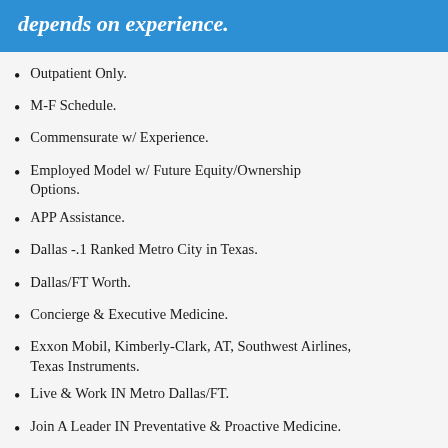depends on experience.
Outpatient Only.
M-F Schedule.
Commensurate w/ Experience.
Employed Model w/ Future Equity/Ownership Options.
APP Assistance.
Dallas -.1 Ranked Metro City in Texas.
Dallas/FT Worth.
Concierge & Executive Medicine.
Exxon Mobil, Kimberly-Clark, AT, Southwest Airlines, Texas Instruments.
Live & Work IN Metro Dallas/FT.
Join A Leader IN Preventative & Proactive Medicine.
Physician - Family Medicine Job in Texas.
Located in one of the most sought-after metropolitan cities in the country, this opportunity is a perfect